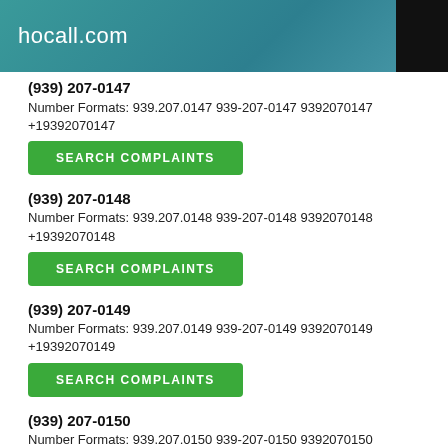hocall.com
(939) 207-0147
Number Formats: 939.207.0147 939-207-0147 9392070147 +19392070147
SEARCH COMPLAINTS
(939) 207-0148
Number Formats: 939.207.0148 939-207-0148 9392070148 +19392070148
SEARCH COMPLAINTS
(939) 207-0149
Number Formats: 939.207.0149 939-207-0149 9392070149 +19392070149
SEARCH COMPLAINTS
(939) 207-0150
Number Formats: 939.207.0150 939-207-0150 9392070150 +19392070150
SEARCH COMPLAINTS